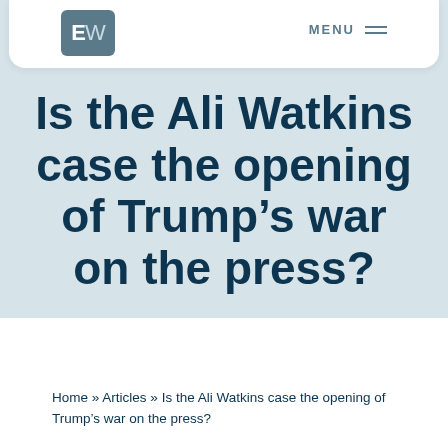EW  MENU
Is the Ali Watkins case the opening of Trump's war on the press?
Home » Articles » Is the Ali Watkins case the opening of Trump's war on the press?